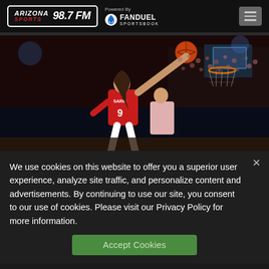Arizona Sports 98.7 FM — Powered By FanDuel Sportsbook
[Figure (photo): Basketball action photo: player wearing red jersey number 9 with name SARIC going up for a layup near the basketball hoop, arena crowd in background]
We use cookies on this website to offer you a superior user experience, analyze site traffic, and personalize content and advertisements. By continuing to use our site, you consent to our use of cookies. Please visit our Privacy Policy for more information.
Accept Cookies